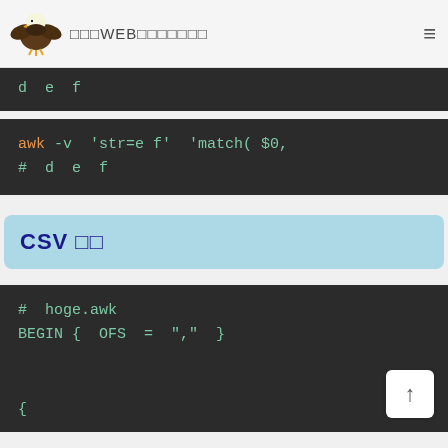（eagle logo）WEBプログラミング入門
[Figure (screenshot): Dark code block showing partial line: d e f]
[Figure (screenshot): Dark code block: awk -v 'str=e f' 'match( $0, # d e f]
CSV 処理
[Figure (screenshot): Dark code block: # hoge.awk  BEGIN { OFS = "," }  {]